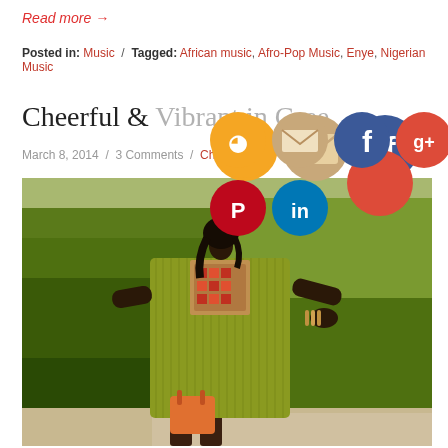Read more →
Posted in: Music / Tagged: African music, Afro-Pop Music, Enye, Nigerian Music
Cheerful & Vibrant in Green
March 8, 2014 / 3 Comments / Chic Haven
[Figure (photo): A woman wearing a chartreuse/olive green dress with embroidered neckline detail, standing outdoors on a sunny day with green grass in the background. She is carrying an orange handbag.]
[Figure (infographic): Social media sharing icons overlay: RSS (orange), Email (tan/beige), Facebook (blue), Google+ (red), Twitter (light blue), Pinterest (red), LinkedIn (blue)]